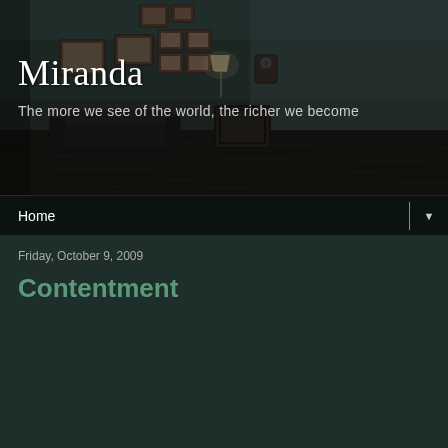[Figure (photo): Dark interior room with framed pictures on walls, a lamp, vintage telephone, couch and old TV on wooden floor — serves as header background image]
Miranda
The more we see of the world, the richer we become
Home
Friday, October 9, 2009
Contentment
[Figure (photo): Outdoor photo taken from under a dark canopy/awning structure, showing a dramatic sunset sky with clouds and trees visible at the bottom]